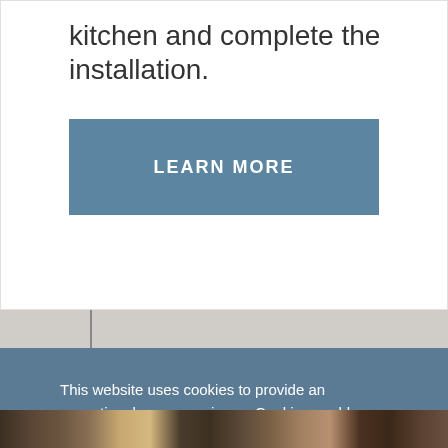kitchen and complete the installation.
LEARN MORE
[Figure (photo): Kitchen cabinet strip with vertical dark divider lines visible against a light gray/beige background]
This website uses cookies to provide an exceptional user experience. Cookies enable you to enjoy certain features and allow us to understand how our site is being used. By continuing to use our site, you consent to our use of cookies. Read more
Decline
Accept Cookies
[Figure (photo): Bottom sliver of a kitchen photo showing dark countertops and kitchen items]